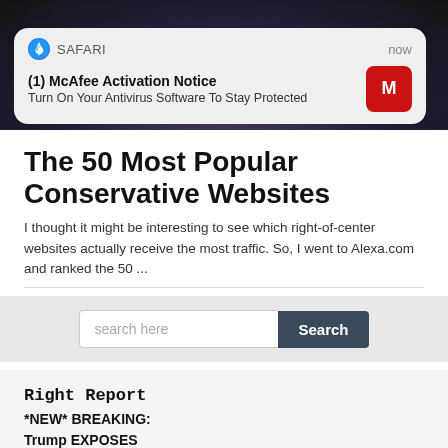[Figure (screenshot): Top banner image showing a dark background with a person partially visible, overlaid by a Safari browser notification popup]
(1) McAfee Activation Notice
Turn On Your Antivirus Software To Stay Protected
The 50 Most Popular Conservative Websites
I thought it might be interesting to see which right-of-center websites actually receive the most traffic. So, I went to Alexa.com and ranked the 50 ...
search here
Right Report
*NEW* BREAKING:
Trump EXPOSES
Judge Who Approved